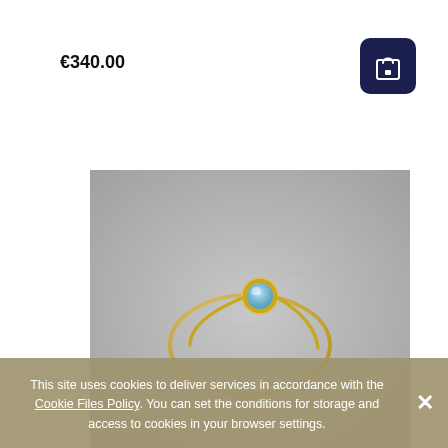€340.00
[Figure (photo): Dark navy shopping bag icon on dark navy rounded square button]
[Figure (photo): Close-up photograph of a thin gold ring with a small round blue gemstone (moonstone or aquamarine) in a bezel setting, resting on a gray surface]
This site uses cookies to deliver services in accordance with the Cookie Files Policy. You can set the conditions for storage and access to cookies in your browser settings.